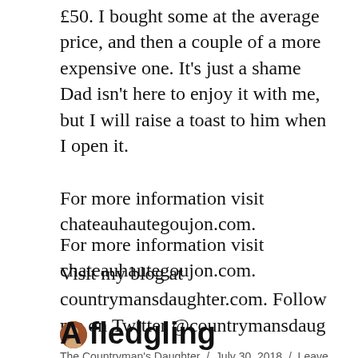£50. I bought some at the average price, and then a couple of a more expensive one. It's just a shame Dad isn't here to enjoy it with me, but I will raise a toast to him when I open it.
For more information visit chateauhautegoujon.com.
Visit my blog at countrymansdaughter.com. Follow me on Twitter @countrymansdaug
The Countryman's Daughter / July 30, 2018 / Leave a comment
A fledgling emergency